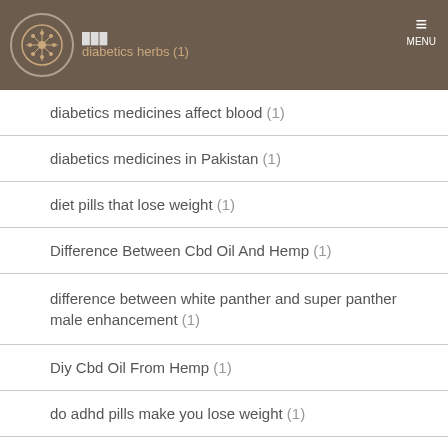diabetics herbs (1) — MENU
diabetics medicines affect blood (1)
diabetics medicines in Pakistan (1)
diet pills that lose weight (1)
Difference Between Cbd Oil And Hemp (1)
difference between white panther and super panther male enhancement (1)
Diy Cbd Oil From Hemp (1)
do adhd pills make you lose weight (1)
do dick pumps work (1)